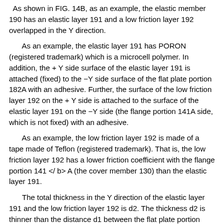As shown in FIG. 14B, as an example, the elastic member 190 has an elastic layer 191 and a low friction layer 192 overlapped in the Y direction.
As an example, the elastic layer 191 has PORON (registered trademark) which is a microcell polymer. In addition, the + Y side surface of the elastic layer 191 is attached (fixed) to the −Y side surface of the flat plate portion 182A with an adhesive. Further, the surface of the low friction layer 192 on the + Y side is attached to the surface of the elastic layer 191 on the −Y side (the flange portion 141A side, which is not fixed) with an adhesive.
As an example, the low friction layer 192 is made of a tape made of Teflon (registered trademark). That is, the low friction layer 192 has a lower friction coefficient with the flange portion 141 </ b> A (the cover member 130) than the elastic layer 191.
The total thickness in the Y direction of the elastic layer 191 and the low friction layer 192 is d2. The thickness d2 is thinner than the distance d1 between the flat plate portion 182A and the flange portion 141A. That is, a gap d2